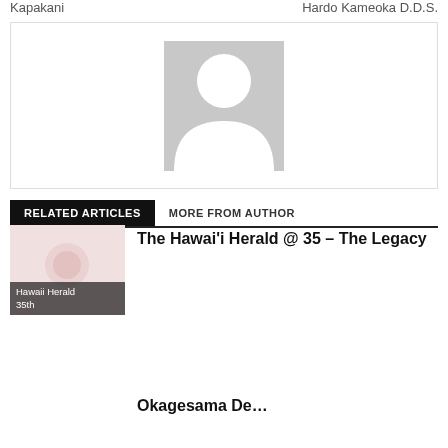Kapakani                    Hardo Kameoka D.D.S.
[Figure (photo): Generic author placeholder silhouette icon inside a bordered box]
RELATED ARTICLES    MORE FROM AUTHOR
The Hawai'i Herald @ 35 – The Legacy
Hawaii Herald 35th
Okagesama De…